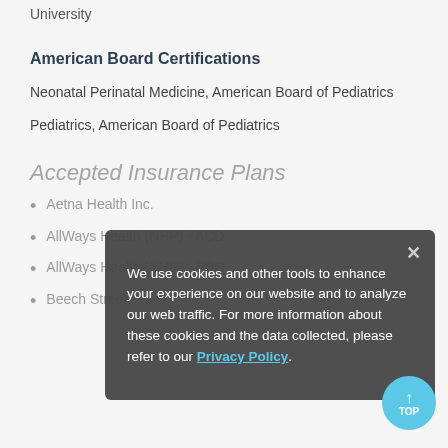University
American Board Certifications
Neonatal Perinatal Medicine, American Board of Pediatrics
Pediatrics, American Board of Pediatrics
Accepted Insurance Plans
Aetna Health Inc.
AllWays Health (NHP) - ACD
AllWays Health (NHP) - PBO
Beech Street
We use cookies and other tools to enhance your experience on our website and to analyze our web traffic. For more information about these cookies and the data collected, please refer to our Privacy Policy.